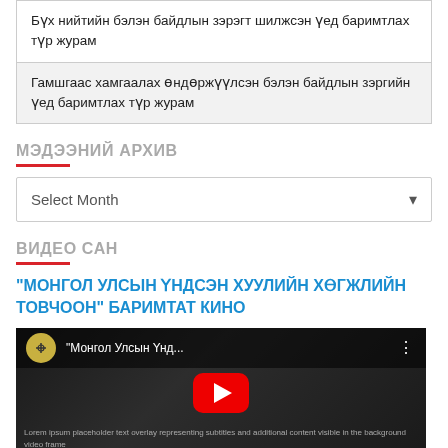| Бүх нийтийн бэлэн байдлын зэрэгт шилжсэн үед баримтлах түр журам |
| Гамшгаас хамгаалах өндөржүүлсэн бэлэн байдлын зэргийн үед баримтлах түр журам |
МЭДЭЭНИЙ АРХИВ
Select Month
ВИДЕО САН
"МОНГОЛ УЛСЫН ҮНДСЭН ХУУЛИЙН ХӨГЖЛИЙН ТОВЧООН" БАРИМТАТ КИНО
[Figure (screenshot): YouTube video thumbnail showing Монгол Улсын Үнд... with play button and channel logo]